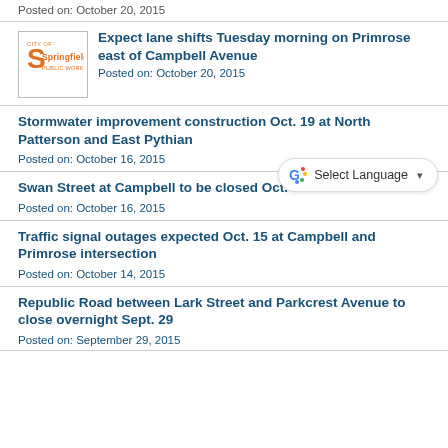Posted on: October 20, 2015
[Figure (logo): City of Springfield Public Works logo with orange S graphic]
Expect lane shifts Tuesday morning on Primrose east of Campbell Avenue
Posted on: October 20, 2015
Stormwater improvement construction Oct. 19 at North Patterson and East Pythian
Posted on: October 16, 2015
Swan Street at Campbell to be closed Oct. 19
Posted on: October 16, 2015
Traffic signal outages expected Oct. 15 at Campbell and Primrose intersection
Posted on: October 14, 2015
Republic Road between Lark Street and Parkcrest Avenue to close overnight Sept. 29
Posted on: September 29, 2015